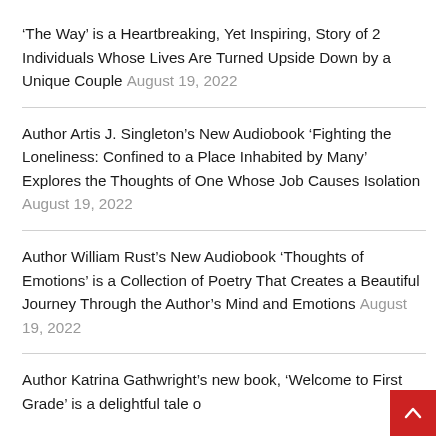'The Way' is a Heartbreaking, Yet Inspiring, Story of 2 Individuals Whose Lives Are Turned Upside Down by a Unique Couple August 19, 2022
Author Artis J. Singleton's New Audiobook 'Fighting the Loneliness: Confined to a Place Inhabited by Many' Explores the Thoughts of One Whose Job Causes Isolation August 19, 2022
Author William Rust's New Audiobook 'Thoughts of Emotions' is a Collection of Poetry That Creates a Beautiful Journey Through the Author's Mind and Emotions August 19, 2022
Author Katrina Gathwright's new book, 'Welcome to First Grade' is a delightful tale o…